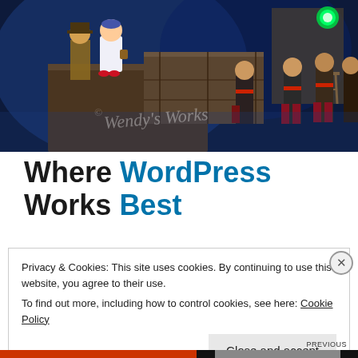[Figure (photo): Stage performance scene showing actors in costume, including a girl in a white dress with red shoes, a scarecrow character, and several performers in dark folk costumes with red accessories. Stage lit with blue dramatic lighting. The image has a watermark reading 'Wendy's Works'.]
Where WordPress Works Best
Privacy & Cookies: This site uses cookies. By continuing to use this website, you agree to their use.
To find out more, including how to control cookies, see here: Cookie Policy
Close and accept